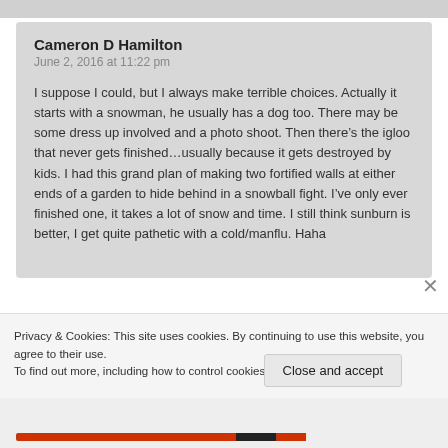Cameron D Hamilton
June 2, 2016 at 11:22 pm
I suppose I could, but I always make terrible choices. Actually it starts with a snowman, he usually has a dog too. There may be some dress up involved and a photo shoot. Then there’s the igloo that never gets finished…usually because it gets destroyed by kids. I had this grand plan of making two fortified walls at either ends of a garden to hide behind in a snowball fight. I’ve only ever finished one, it takes a lot of snow and time. I still think sunburn is better, I get quite pathetic with a cold/manflu. Haha
Privacy & Cookies: This site uses cookies. By continuing to use this website, you agree to their use.
To find out more, including how to control cookies, see here: Cookie Policy
Close and accept